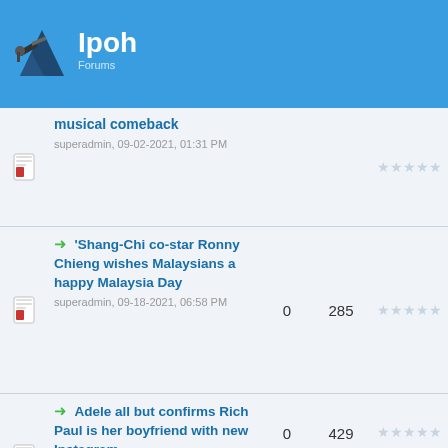Ipoh Forums
musical comeback — superadmin, 09-02-2021, 01:31 PM | 0 replies | 285 views | Last Post: superadmin
'Shang-Chi co-star Ronny Chieng wishes Malaysians a happy Malaysia Day — superadmin, 09-18-2021, 06:58 PM | 0 replies | 285 views | Last Post: superadmin | 09-18-2021, 06:58
Adele all but confirms Rich Paul is her boyfriend with new Instagram — superadmin | 0 replies | 429 views | Last Post: superadmin | 09-20-2021, 04:42